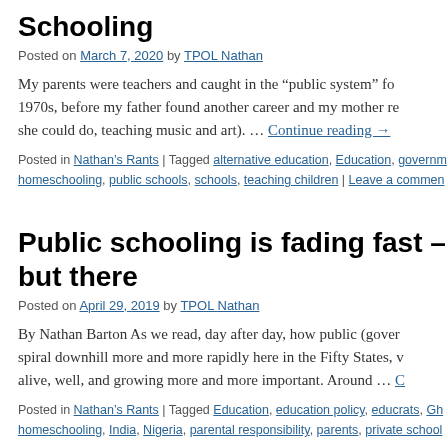Schooling
Posted on March 7, 2020 by TPOL Nathan
My parents were teachers and caught in the “public system” for 1970s, before my father found another career and my mother re she could do, teaching music and art). … Continue reading →
Posted in Nathan’s Rants | Tagged alternative education, Education, governm homeschooling, public schools, schools, teaching children | Leave a commen
Public schooling is fading fast – but there
Posted on April 29, 2019 by TPOL Nathan
By Nathan Barton As we read, day after day, how public (gover spiral downhill more and more rapidly here in the Fifty States, v alive, well, and growing more and more important. Around … C
Posted in Nathan’s Rants | Tagged Education, education policy, educrats, Gh homeschooling, India, Nigeria, parental responsibility, parents, private school